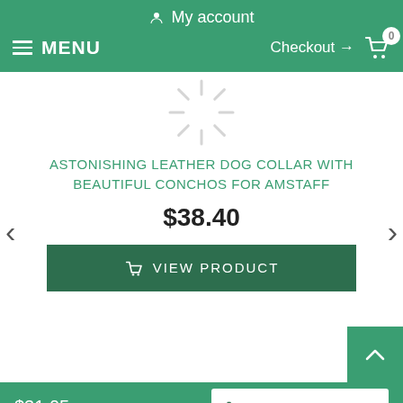My account
MENU  Checkout → 0
[Figure (illustration): Loading spinner / starburst graphic in light gray]
ASTONISHING LEATHER DOG COLLAR WITH BEAUTIFUL CONCHOS FOR AMSTAFF
$38.40
VIEW PRODUCT
$31.05
SELECT OPTIONS